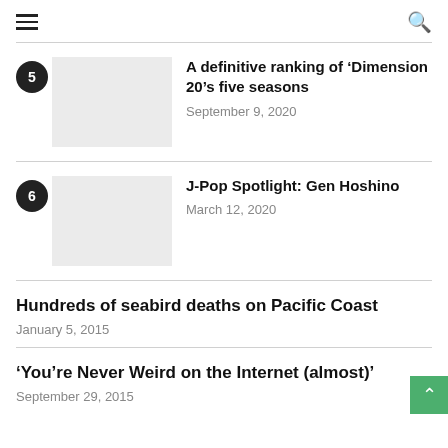≡  🔍
5 · A definitive ranking of ‘Dimension 20’s five seasons · September 9, 2020
6 · J-Pop Spotlight: Gen Hoshino · March 12, 2020
Hundreds of seabird deaths on Pacific Coast
January 5, 2015
‘You’re Never Weird on the Internet (almost)’
September 29, 2015